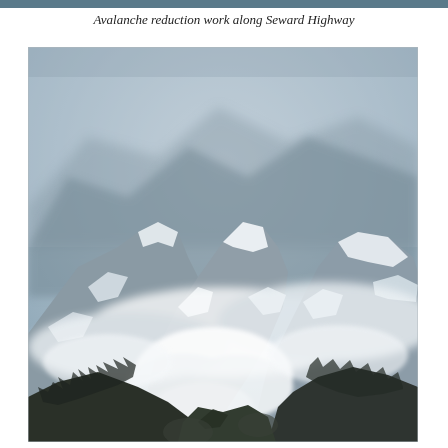Avalanche reduction work along Seward Highway
[Figure (photo): Black and white photograph of snow-covered mountain peaks partially obscured by clouds and mist, with an avalanche cloud visible at the lower portion. Dense dark forested slopes at the bottom.]